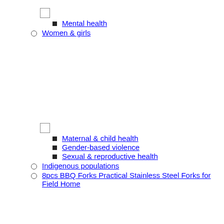Mental health
Women & girls
Maternal & child health
Gender-based violence
Sexual & reproductive health
Indigenous populations
8pcs BBQ Forks Practical Stainless Steel Forks for Field Home